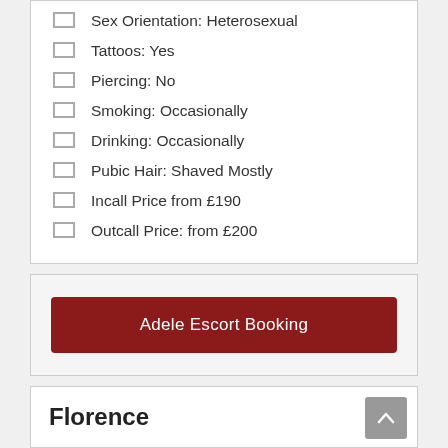Sex Orientation: Heterosexual
Tattoos: Yes
Piercing: No
Smoking: Occasionally
Drinking: Occasionally
Pubic Hair: Shaved Mostly
Incall Price from £190
Outcall Price: from £200
Adele Escort Booking
Florence